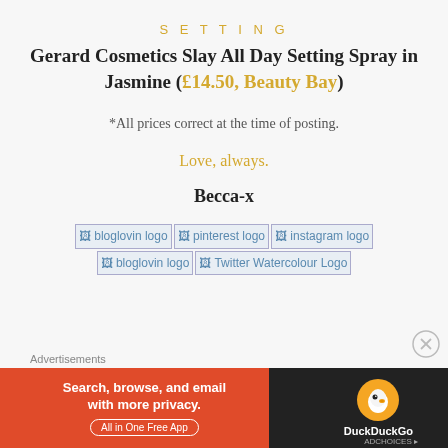SETTING
Gerard Cosmetics Slay All Day Setting Spray in Jasmine (£14.50, Beauty Bay)
*All prices correct at the time of posting.
Love, always.
Becca-x
[Figure (illustration): Social media icon links: bloglovin logo, pinterest logo, instagram logo, bloglovin logo, Twitter Watercolour Logo — shown as broken image placeholders with alt text]
Advertisements
[Figure (screenshot): DuckDuckGo advertisement banner: orange left section with text 'Search, browse, and email with more privacy. All in One Free App', dark right section with DuckDuckGo duck logo and brand name]